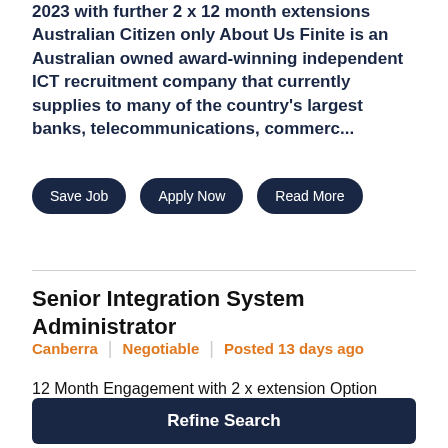2023 with further 2 x 12 month extensions Australian Citizen only About Us Finite is an Australian owned award-winning independent ICT recruitment company that currently supplies to many of the country's largest banks, telecommunications, commerc...
Save Job
Apply Now
Read More
Senior Integration System Administrator
Canberra | Negotiable | Posted 13 days ago
12 Month Engagement with 2 x extension Option Baseline Clearance Canberra / Sydney / Brisbane
Refine Search
enabled business solutions and consulting services